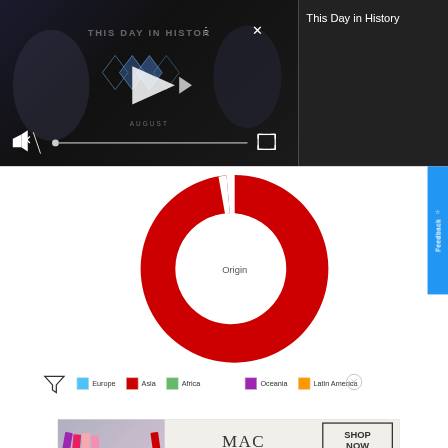[Figure (screenshot): Video player showing 'This Day in History' with play button, mute icon, progress bar, fullscreen icon, and close/menu buttons. Dark background.]
This Day in History
[Figure (donut-chart): Donut chart labeled 'Origin' in center, predominantly red/crimson color nearly full circle with a small white gap. Represents geographic origin data.]
[Figure (screenshot): Partial legend showing Europe (blue), Asia (red), Africa (green), Oceania (purple), Latin America (orange) color swatches with labels]
[Figure (screenshot): MAC cosmetics advertisement showing lipsticks and SHOP NOW button]